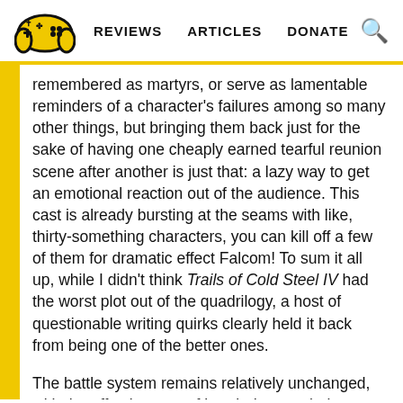REVIEWS   ARTICLES   DONATE
remembered as martyrs, or serve as lamentable reminders of a character's failures among so many other things, but bringing them back just for the sake of having one cheaply earned tearful reunion scene after another is just that: a lazy way to get an emotional reaction out of the audience. This cast is already bursting at the seams with like, thirty-something characters, you can kill off a few of them for dramatic effect Falcom! To sum it all up, while I didn't think Trails of Cold Steel IV had the worst plot out of the quadrilogy, a host of questionable writing quirks clearly held it back from being one of the better ones.
The battle system remains relatively unchanged, with the effectiveness of break damage being toned down and Arts damage getting yet another buff among other minor